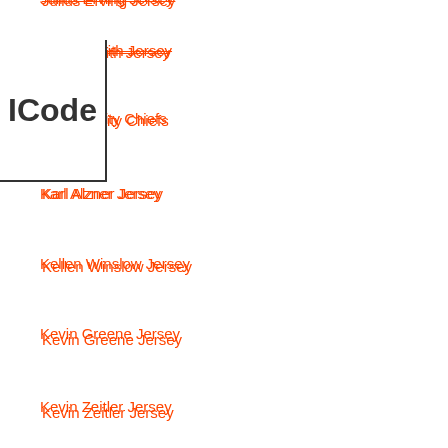Julius Erving Jersey
Justin Smith Jersey
Kansas City Chiefs
Karl Alzner Jersey
Kellen Winslow Jersey
Kevin Greene Jersey
Kevin Zeitler Jersey
Khairi Fortt Jersey
Korbinian Holzer Jersey
Kwon Alexander Jersey
Kyle Palmieri Jersey
Kyler Fackrell Jersey
LaMarcus Aldridge Jersey
Laurie Boschman Jersey
Lavonte David Jersey
Lawrence Taylor Jersey